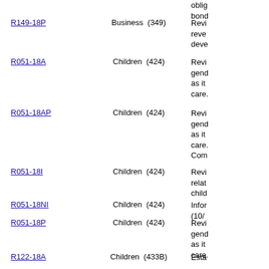oblig bond
R149-18P | Business (349) | Revi reve deve
R051-18A | Children (424) | Revi gend as it care.
R051-18AP | Children (424) | Revi gend as it care. Com
R051-18I | Children (424) | Revi relat child
R051-18NI | Children (424) | Infor (10/
R051-18P | Children (424) | Revi gend as it care.
R122-18A | Children (433B) | Esta proto healt child
R122-18AP | Children (433B) | Esta